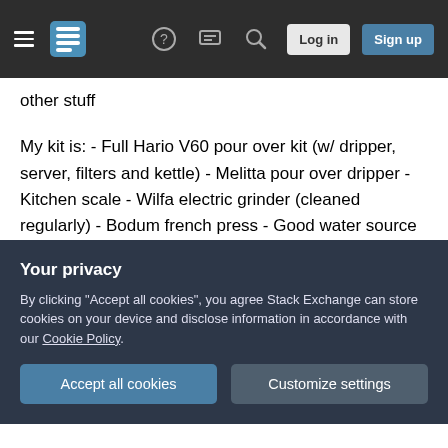Stack Exchange navigation bar with hamburger menu, logo, help, chat, search icons, Log in and Sign up buttons
other stuff
My kit is: - Full Hario V60 pour over kit (w/ dripper, server, filters and kettle) - Melitta pour over dripper - Kitchen scale - Wilfa electric grinder (cleaned regularly) - Bodum french press - Good water source
The funny thing is that people seem to think that pour-over is better and more gourmet but I've found the case to be the opposite. I'm almost to the point where I'm thinking of buying an expensive fully
Your privacy
By clicking "Accept all cookies", you agree Stack Exchange can store cookies on your device and disclose information in accordance with our Cookie Policy.
Accept all cookies
Customize settings